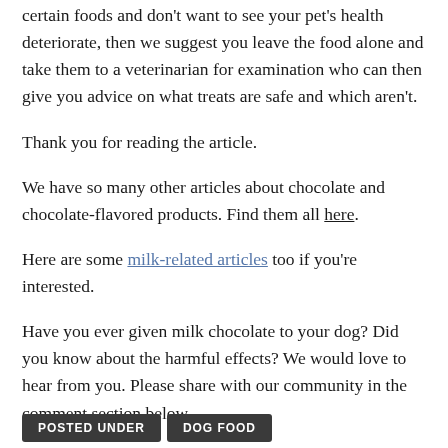certain foods and don’t want to see your pet’s health deteriorate, then we suggest you leave the food alone and take them to a veterinarian for examination who can then give you advice on what treats are safe and which aren’t.
Thank you for reading the article.
We have so many other articles about chocolate and chocolate-flavored products. Find them all here.
Here are some milk-related articles too if you’re interested.
Have you ever given milk chocolate to your dog? Did you know about the harmful effects? We would love to hear from you. Please share with our community in the comment section below.
POSTED UNDER   DOG FOOD